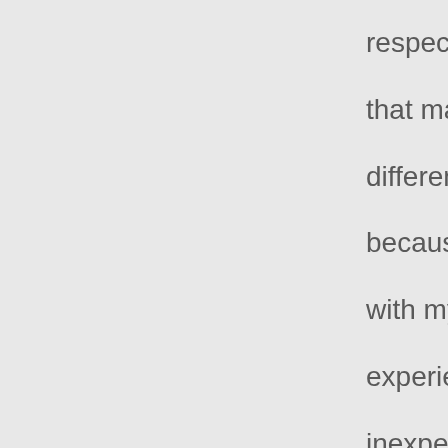respect for your friend's autonomy. It's funny how that many people can act in exactly the same w different intentions and attitudes; I highly appro because I identify with them. I've been put in si with my girl a few times, even given my incomp experience than yours, and am made most unc inexperience, in that I'm not sure how I'm supp always know if behavior that seems incredibly p to me is in fact ok in a sex positive, bdsm crow inside, and do nothing, though ready and willing that I KNOW my girl can take care of herself (h take care of me if I was in trouble) somehow do my conflicted feelings. I find it comforting and a someone like you has somewhat similar feeling
Assholes be warned, step too far over the line it. And unlike me, he knows where the line is. S